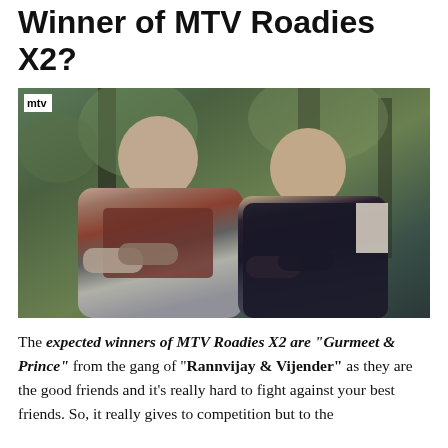Winner of MTV Roadies X2?
[Figure (photo): Two young men sitting side by side outdoors with trees in background; MTV logo badge in top left corner]
The expected winners of MTV Roadies X2 are "Gurmeet & Prince" from the gang of "Rannvijay & Vijender" as they are the good friends and it's really hard to fight against your best friends. So, it really gives to competition but to the